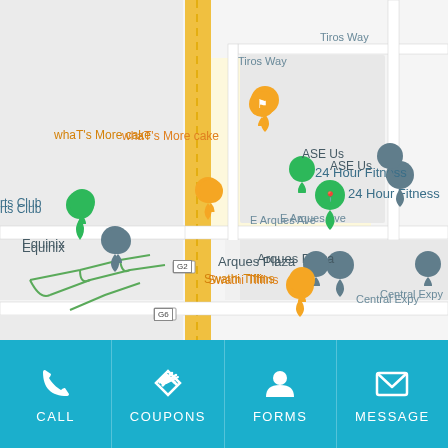[Figure (map): Google Maps screenshot showing area around E Arques Ave and Central Expy in Sunnyvale, CA. Visible landmarks include: whaT's More cake, 24 Hour Fitness, ASE Us, Equinix, Arques Plaza, Fujitsu Electronics America, Swathi Tiffins, Thermo Fisher Sci. A major north-south road (yellow) crosses E Arques Ave and Central Expy. Green freeway interchange lines visible at lower left.]
[Figure (screenshot): Mobile app bottom navigation bar with four buttons: CALL (phone icon), COUPONS (tag icon), FORMS (person icon), MESSAGE (envelope icon). Teal/blue background.]